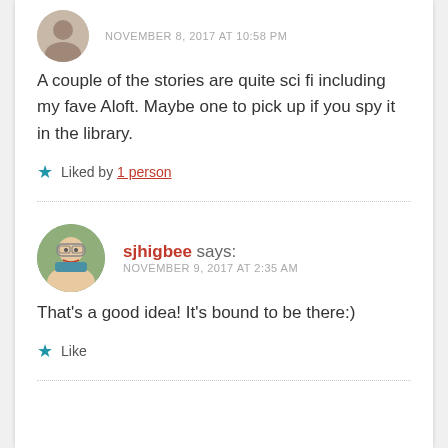NOVEMBER 8, 2017 AT 10:58 PM
A couple of the stories are quite sci fi including my fave Aloft. Maybe one to pick up if you spy it in the library.
Liked by 1 person
sjhigbee says: NOVEMBER 9, 2017 AT 2:35 AM
That's a good idea! It's bound to be there:)
Like